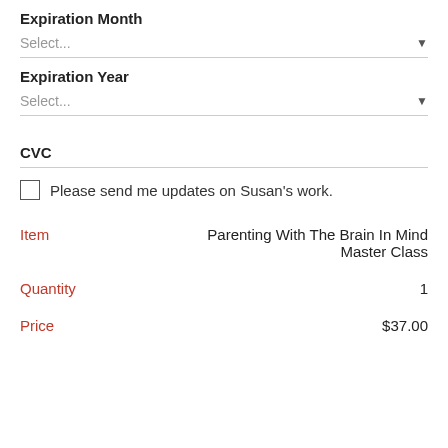Expiration Month
Select...
Expiration Year
Select...
CVC
Please send me updates on Susan's work.
| Item |  |
| --- | --- |
| Item | Parenting With The Brain In Mind Master Class |
| Quantity | 1 |
| Price | $37.00 |